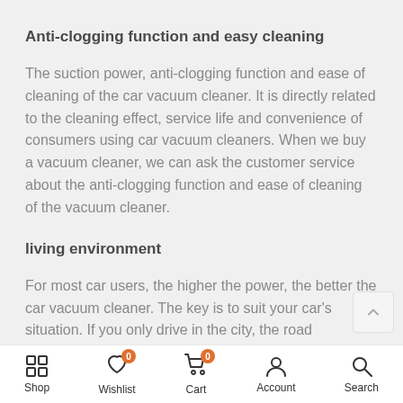Anti-clogging function and easy cleaning
The suction power, anti-clogging function and ease of cleaning of the car vacuum cleaner. It is directly related to the cleaning effect, service life and convenience of consumers using car vacuum cleaners. When we buy a vacuum cleaner, we can ask the customer service about the anti-clogging function and ease of cleaning of the vacuum cleaner.
living environment
For most car users, the higher the power, the better the car vacuum cleaner. The key is to suit your car's situation. If you only drive in the city, the road conditions are better
Shop  Wishlist  Cart  Account  Search